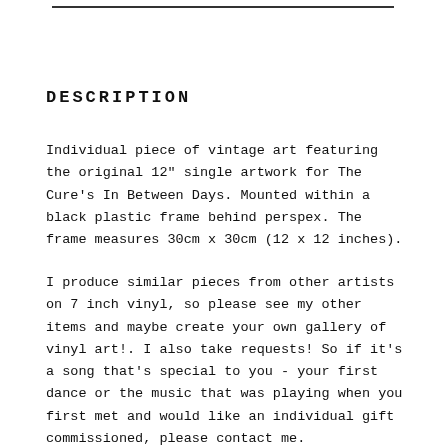DESCRIPTION
Individual piece of vintage art featuring the original 12" single artwork for The Cure's In Between Days. Mounted within a black plastic frame behind perspex. The frame measures 30cm x 30cm (12 x 12 inches).
I produce similar pieces from other artists on 7 inch vinyl, so please see my other items and maybe create your own gallery of vinyl art!. I also take requests! So if it's a song that's special to you - your first dance or the music that was playing when you first met and would like an individual gift commissioned, please contact me.